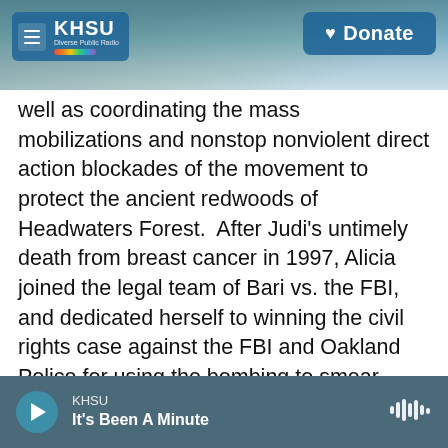KHSU | Diverse Public Radio — Donate
well as coordinating the mass mobilizations and nonstop nonviolent direct action blockades of the movement to protect the ancient redwoods of Headwaters Forest. After Judi's untimely death from breast cancer in 1997, Alicia joined the legal team of Bari vs. the FBI, and dedicated herself to winning the civil rights case against the FBI and Oakland Police for using the bombing to smear Judi, Darryl and Earth First! rather than investigate the attack. In 2002 a jury in Oakland found the defendants liable for $4.4 million for civil rights abuses, a historic ruling against the federal agents of repression in the US. Alicia is a professional
KHSU — It's Been A Minute